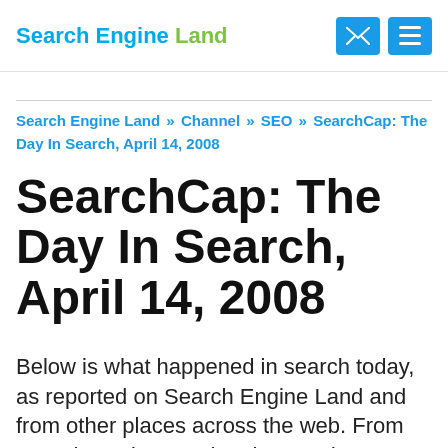Search Engine Land
Search Engine Land » Channel » SEO » SearchCap: The Day In Search, April 14, 2008
SearchCap: The Day In Search, April 14, 2008
Below is what happened in search today, as reported on Search Engine Land and from other places across the web. From Search Engine Land: Yahoo Updates